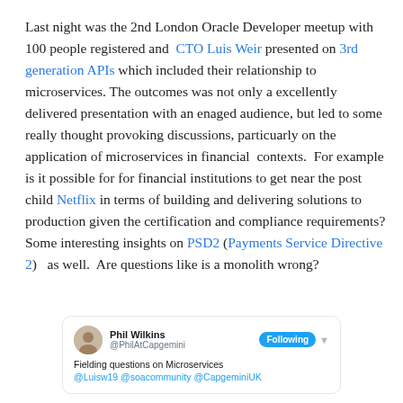Last night was the 2nd London Oracle Developer meetup with 100 people registered and CTO Luis Weir presented on 3rd generation APIs which included their relationship to microservices. The outcomes was not only a excellently delivered presentation with an enaged audience, but led to some really thought provoking discussions, particuarly on the application of microservices in financial  contexts.  For example is it possible for for financial institutions to get near the post child Netflix in terms of building and delivering solutions to production given the certification and compliance requirements? Some interesting insights on PSD2 (Payments Service Directive 2)  as well.  Are questions like is a monolith wrong?
[Figure (screenshot): Tweet by Phil Wilkins (@PhilAtCapgemini) with Following button, text: Fielding questions on Microservices @Luisw19 @soacommunity @CapgeminiUK]